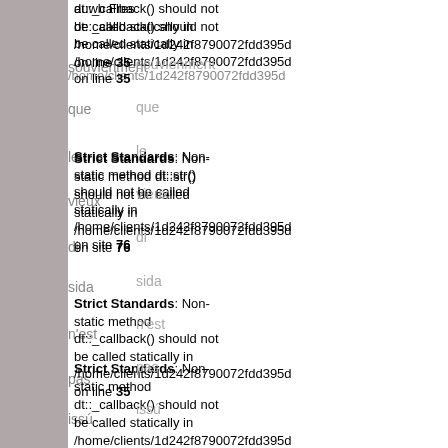Strict Standards: Non-static method dt::_callback() should not be called statically in /home/clients/1d242f8790072fdd395d on line 35
Strict Standards: Non-static method dt::str() should not be called statically in /home/clients/1d242f8790072fdd395d on line 76
Strict Standards: Non-static method dt::_callback() should not be called statically in /home/clients/1d242f8790072fdd395d on line 35
Strict Standards: Non-static method dt::_callback() should not be called statically in /home/clients/1d242f8790072fdd395d on line 35
Strict Standards: Non-static method dt::str() should not be called statically in /home/clients/1d242f8790072fdd395d on line 76